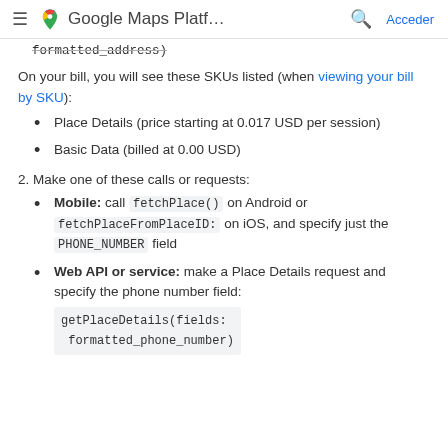Google Maps Platf... Acceder
formatted_address)
On your bill, you will see these SKUs listed (when viewing your bill by SKU):
Place Details (price starting at 0.017 USD per session)
Basic Data (billed at 0.00 USD)
2. Make one of these calls or requests:
Mobile: call fetchPlace() on Android or fetchPlaceFromPlaceID: on iOS, and specify just the PHONE_NUMBER field
Web API or service: make a Place Details request and specify the phone number field: getPlaceDetails(fields: formatted_phone_number)